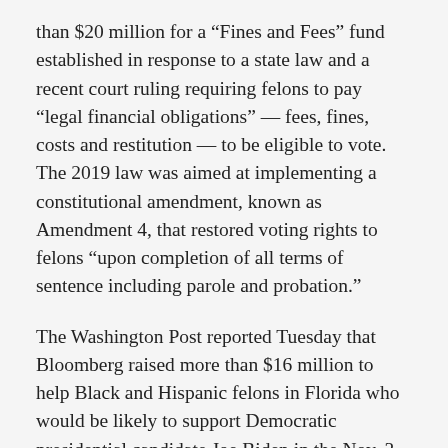than $20 million for a “Fines and Fees” fund established in response to a state law and a recent court ruling requiring felons to pay “legal financial obligations” — fees, fines, costs and restitution — to be eligible to vote. The 2019 law was aimed at implementing a constitutional amendment, known as Amendment 4, that restored voting rights to felons “upon completion of all terms of sentence including parole and probation.”
The Washington Post reported Tuesday that Bloomberg raised more than $16 million to help Black and Hispanic felons in Florida who would be likely to support Democratic presidential candidate Joe Biden in the Nov. 3 election.
“The right to vote is fundamental to our democracy, and no American should be denied that right. Working together with the Florida Rights Restoration Coalition, we are determined to end disenfranchisement and the discrimination that has always driven it,” Bloomberg said in a statement released by the coalition.